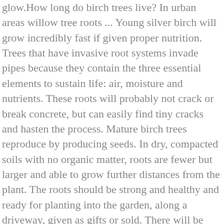glow.How long do birch trees live? In urban areas willow tree roots ... Young silver birch will grow incredibly fast if given proper nutrition. Trees that have invasive root systems invade pipes because they contain the three essential elements to sustain life: air, moisture and nutrients. These roots will probably not crack or break concrete, but can easily find tiny cracks and hasten the process. Mature birch trees reproduce by producing seeds. In dry, compacted soils with no organic matter, roots are fewer but larger and able to grow further distances from the plant. The roots should be strong and healthy and ready for planting into the garden, along a driveway, given as gifts or sold. There will be more roots when conditions are favorable. The dark horizontal lines on silver birch bark are the lenticels. The birch tree lifespan depends upon where the tree is growing. Most of the Maple trees have roots as deep as 12 to 18 inches from the soil surface and spreading up to a distance of 25 ft. As the tree grows in size, these roots sometimes come out of the surface. To cope with dry conditions, the roots are known to